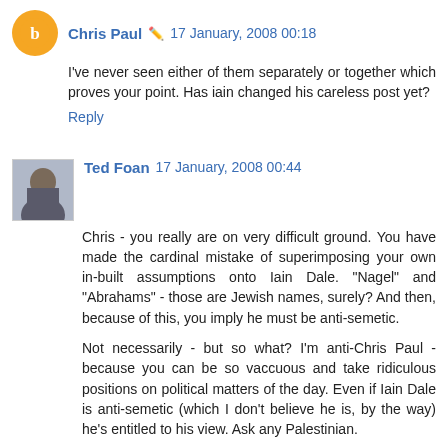Chris Paul 🖊 17 January, 2008 00:18
I've never seen either of them separately or together which proves your point. Has iain changed his careless post yet?
Reply
Ted Foan 17 January, 2008 00:44
Chris - you really are on very difficult ground. You have made the cardinal mistake of superimposing your own in-built assumptions onto Iain Dale. "Nagel" and "Abrahams" - those are Jewish names, surely? And then, because of this, you imply he must be anti-semetic.
Not necessarily - but so what? I'm anti-Chris Paul - because you can be so vaccuous and take ridiculous positions on political matters of the day. Even if Iain Dale is anti-semetic (which I don't believe he is, by the way) he's entitled to his view. Ask any Palestinian.
So don't ever assume - it could make an "ASS of U and ME". An oldie but a goldie!